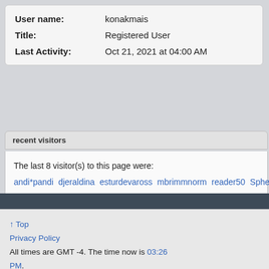| User name: | konakmais |
| Title: | Registered User |
| Last Activity: | Oct 21, 2021 at 04:00 AM |
recent visitors
The last 8 visitor(s) to this page were:
andi*pandi   djeraldina   esturdevaross   mbrimmnorm   reader50   Spheric Ha…
This page has had 25,641 visits
↑ Top
Privacy Policy
All times are GMT -4. The time now is 03:26 PM.